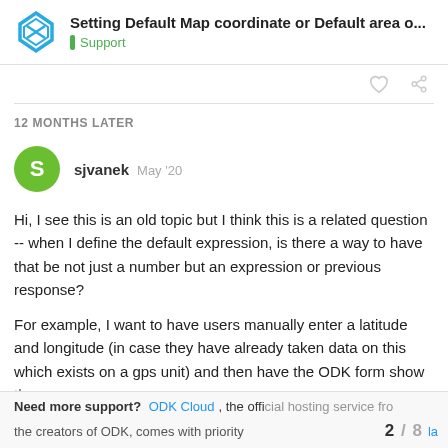Setting Default Map coordinate or Default area o... | Support
12 MONTHS LATER
sjvanek  May '20
Hi, I see this is an old topic but I think this is a related question -- when I define the default expression, is there a way to have that be not just a number but an expression or previous response? For example, I want to have users manually enter a latitude and longitude (in case they have already taken data on this which exists on a gps unit) and then have the ODK form show them
Need more support? ODK Cloud, the official hosting service from the creators of ODK, comes with priority s  2 / 8  la